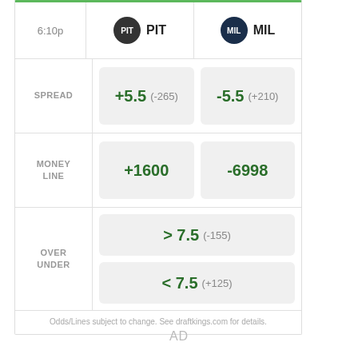|  | PIT | MIL |
| --- | --- | --- |
| 6:10p | PIT | MIL |
| SPREAD | +5.5  (-265) | -5.5  (+210) |
| MONEY LINE | +1600 | -6998 |
| OVER
UNDER | > 7.5  (-155) | < 7.5  (+125) |
Odds/Lines subject to change. See draftkings.com for details.
AD